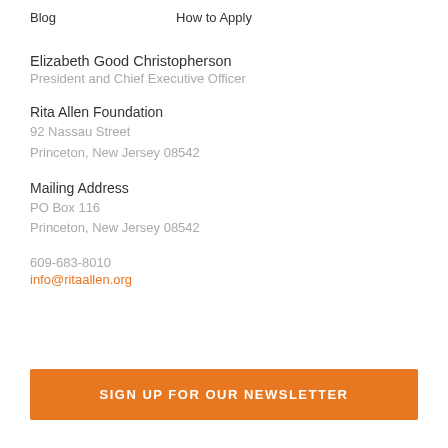Blog    How to Apply
Elizabeth Good Christopherson
President and Chief Executive Officer
Rita Allen Foundation
92 Nassau Street
Princeton, New Jersey 08542
Mailing Address
PO Box 116
Princeton, New Jersey 08542
609-683-8010
info@ritaallen.org
SIGN UP FOR OUR NEWSLETTER